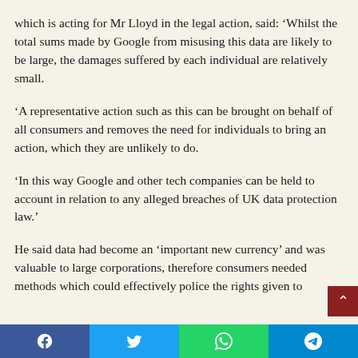which is acting for Mr Lloyd in the legal action, said: ‘Whilst the total sums made by Google from misusing this data are likely to be large, the damages suffered by each individual are relatively small.
‘A representative action such as this can be brought on behalf of all consumers and removes the need for individuals to bring an action, which they are unlikely to do.
‘In this way Google and other tech companies can be held to account in relation to any alleged breaches of UK data protection law.’
He said data had become an ‘important new currency’ and was valuable to large corporations, therefore consumers needed methods which could effectively police the rights given to